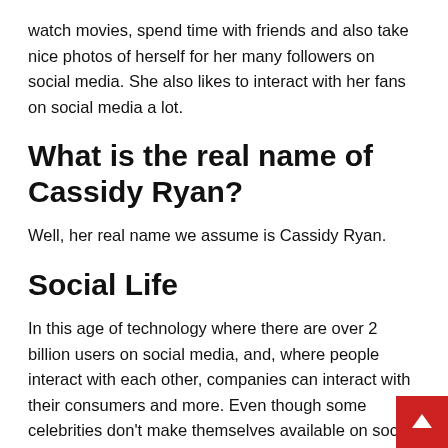watch movies, spend time with friends and also take nice photos of herself for her many followers on social media. She also likes to interact with her fans on social media a lot.
What is the real name of Cassidy Ryan?
Well, her real name we assume is Cassidy Ryan.
Social Life
In this age of technology where there are over 2 billion users on social media, and, where people interact with each other, companies can interact with their consumers and more. Even though some celebrities don't make themselves available on social media Cassidy Ryan has made sure not to be left out of the fu